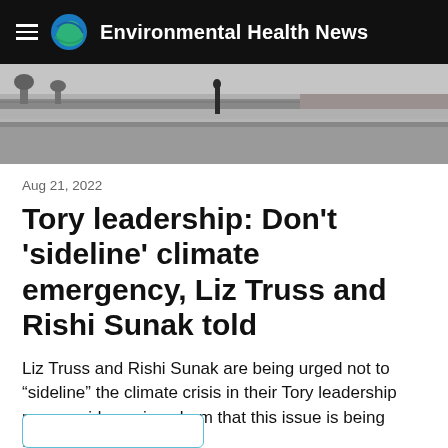Environmental Health News
[Figure (photo): Street scene photograph showing a road or plaza with trees and fencing in the background, black and white / muted tones]
Aug 21, 2022
Tory leadership: Don’t ‘sideline’ climate emergency, Liz Truss and Rishi Sunak told
Liz Truss and Rishi Sunak are being urged not to “sideline” the climate crisis in their Tory leadership race, amid growing alarm that this issue is being forgotten.